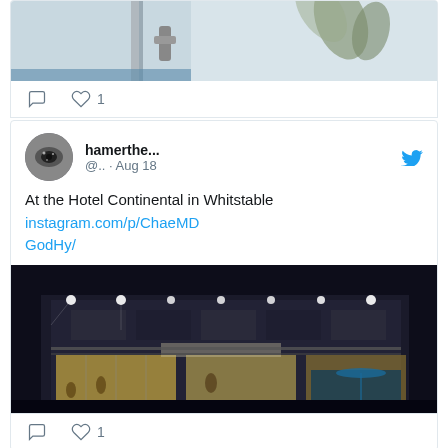[Figure (photo): Partial view of a photo showing what appears to be a door or wall with a floral design, cropped at top]
Comment icon and heart icon with count 1 (action bar for first tweet)
hamerthe... @.. · Aug 18
At the Hotel Continental in Whitstable instagram.com/p/ChaeMDGodHy/
[Figure (photo): Night photo of Hotel Continental in Whitstable, a multi-story building illuminated with lights, people visible in restaurant area]
Comment icon and heart icon with count 1 (action bar for second tweet)
hamerthe... (partial, bottom of page)